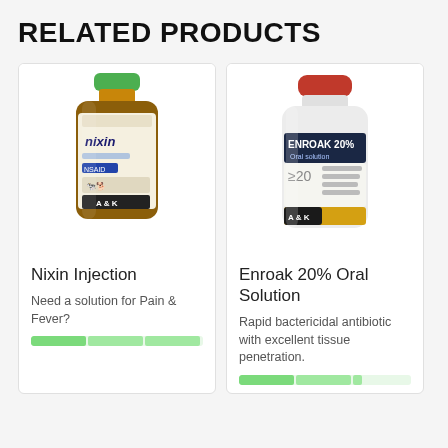RELATED PRODUCTS
[Figure (photo): Nixin Injection veterinary medicine bottle with green cap and A&K logo]
Nixin Injection
Need a solution for Pain & Fever?
[Figure (photo): Enroak 20% Oral Solution bottle with red cap and A&K logo showing ENROAK 20% label]
Enroak 20% Oral Solution
Rapid bactericidal antibiotic with excellent tissue penetration.